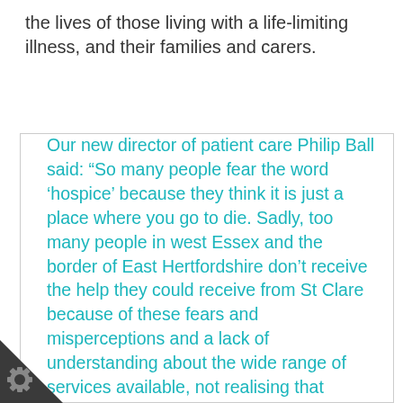the lives of those living with a life-limiting illness, and their families and carers.
Our new director of patient care Philip Ball said: “So many people fear the word ‘hospice’ because they think it is just a place where you go to die. Sadly, too many people in west Essex and the border of East Hertfordshire don’t receive the help they could receive from St Clare because of these fears and misperceptions and a lack of understanding about the wide range of services available, not realising that hospice care is about life and living, not just death and dying.